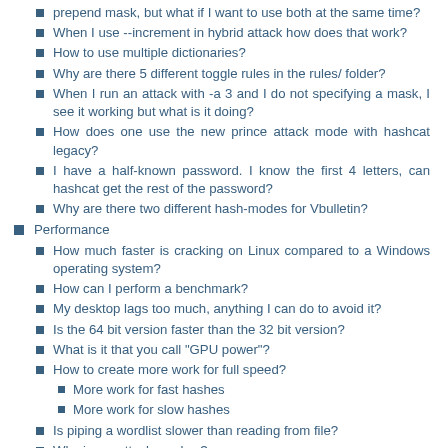prepend mask, but what if I want to use both at the same time?
When I use --increment in hybrid attack how does that work?
How to use multiple dictionaries?
Why are there 5 different toggle rules in the rules/ folder?
When I run an attack with -a 3 and I do not specifying a mask, I see it working but what is it doing?
How does one use the new prince attack mode with hashcat legacy?
I have a half-known password. I know the first 4 letters, can hashcat get the rest of the password?
Why are there two different hash-modes for Vbulletin?
Performance
How much faster is cracking on Linux compared to a Windows operating system?
How can I perform a benchmark?
My desktop lags too much, anything I can do to avoid it?
Is the 64 bit version faster than the 32 bit version?
What is it that you call "GPU power"?
How to create more work for full speed?
More work for fast hashes
More work for slow hashes
Is piping a wordlist slower than reading from file?
Why is my attack so slow?